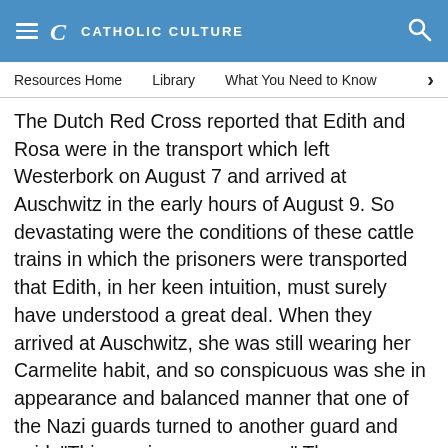CATHOLIC CULTURE
Resources Home   Library   What You Need to Know
The Dutch Red Cross reported that Edith and Rosa were in the transport which left Westerbork on August 7 and arrived at Auschwitz in the early hours of August 9. So devastating were the conditions of these cattle trains in which the prisoners were transported that Edith, in her keen intuition, must surely have understood a great deal. When they arrived at Auschwitz, she was still wearing her Carmelite habit, and so conspicuous was she in appearance and balanced manner that one of the Nazi guards turned to another guard and said, "This one is sane, anyway." Those selected for death were given wash cloths for the supposed "shower" and marched directly to the cottage for gassing. Edith's last sight of the world might nave been that birch tree which stood by the cottage in full bloom. She was 50